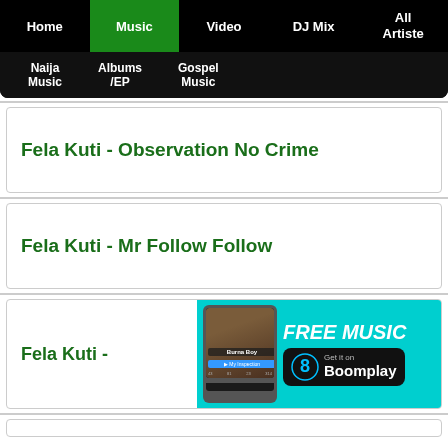Home | Music | Video | DJ Mix | All Artiste | Naija Music | Albums/EP | Gospel Music
Fela Kuti - Observation No Crime
Fela Kuti - Mr Follow Follow
Fela Kuti -
[Figure (screenshot): Boomplay advertisement banner: FREE MUSIC Get it on Boomplay, with a phone screenshot showing Burna Boy album art on the Boomplay app]